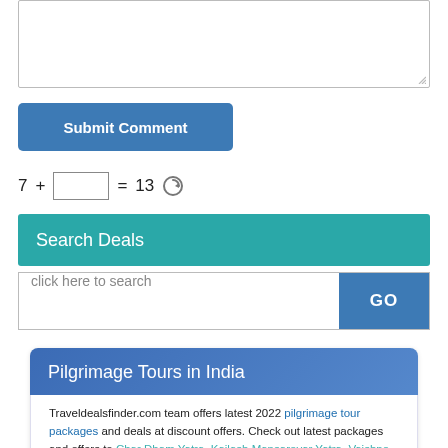[Figure (screenshot): Textarea input box with resize handle at bottom right]
[Figure (screenshot): Submit Comment button (blue rounded rectangle)]
7 + [input box] = 13 [refresh icon]
Search Deals
click here to search [GO button]
Pilgrimage Tours in India
Traveldealsfinder.com team offers latest 2022 pilgrimage tour packages and deals at discount offers. Check out latest packages and offers to Char Dham Yatra, Kailash Mansarovar Yatra, Vaishno Devi Yatra, Hemkund Sahib Tours, Amarnath Yatra, Shirdi Packages, Tirupati, Puri, Dwarka, Rameshwaram and Kanyakumari